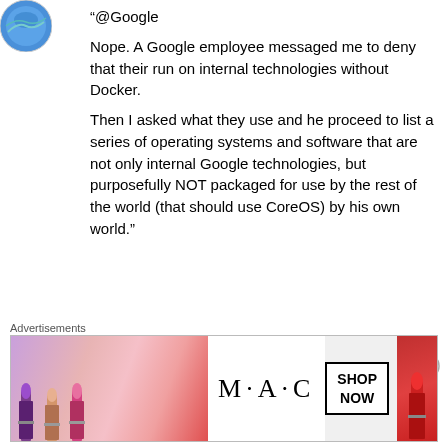[Figure (photo): Partial circular avatar/globe icon in top-left corner]
“@Google
Nope. A Google employee messaged me to deny that their run on internal technologies without Docker.
Then I asked what they use and he proceed to list a series of operating systems and software that are not only internal Google technologies, but purposefully NOT packaged for use by the rest of the world (that should use CoreOS) by his own world.”
You are mixing what Google run them self (borg, linux with cgroups) and what “Google offers
Advertisements
[Figure (photo): M·A·C cosmetics advertisement banner showing lipsticks and SHOP NOW button]